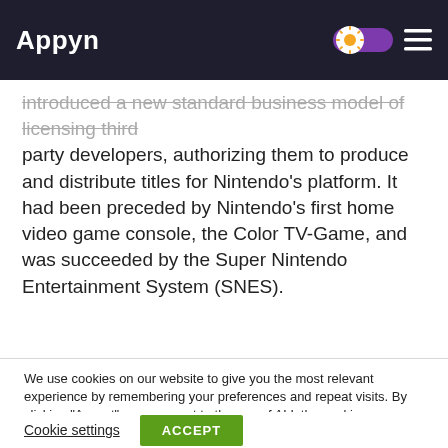Appyn
introduced a new standard business model of licensing third party developers, authorizing them to produce and distribute titles for Nintendo’s platform. It had been preceded by Nintendo’s first home video game console, the Color TV-Game, and was succeeded by the Super Nintendo Entertainment System (SNES).
We use cookies on our website to give you the most relevant experience by remembering your preferences and repeat visits. By clicking “Accept”, you consent to the use of ALL the cookies. Do not sell my personal information.
Cookie settings
ACCEPT